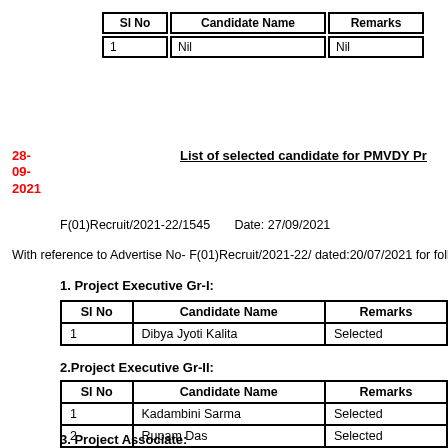| Sl No | Candidate Name | Remarks |
| --- | --- | --- |
| 1 | Nil | Nil |
28-09-2021
List of selected candidate for PMVDY Pr
F(01)Recruit/2021-22/1545      Date: 27/09/2021
With reference to Advertise No- F(01)Recruit/2021-22/ dated:20/07/2021 for follow
1. Project Executive Gr-I:
| Sl No | Candidate Name | Remarks |
| --- | --- | --- |
| 1 | Dibya Jyoti Kalita | Selected |
2.Project Executive Gr-II:
| Sl No | Candidate Name | Remarks |
| --- | --- | --- |
| 1 | Kadambini Sarma | Selected |
| 2 | Rupam Das | Selected |
3. Project Associate: